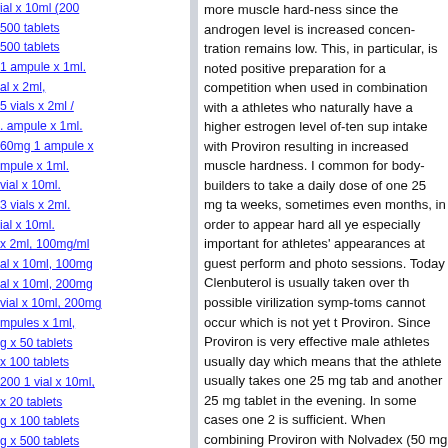ial x 10ml (200
500 tablets
500 tablets
1 ampule x 1ml.
al x 2ml,
5 vials x 2ml /
. ampule x 1ml.
60mg 1 ampule x
mpule x 1ml.
vial x 10ml.
3 vials x 2ml.
ial x 10ml.
x 2ml, 100mg/ml
al x 10ml, 100mg
al x 10ml, 200mg
vial x 10ml, 200mg
mpules x 1ml,
g x 50 tablets
x 100 tablets
200 1 vial x 10ml,
x 20 tablets
g x 100 tablets
g x 500 tablets
0mg x 100 tablets
opionate 75 1 vial
ml
more muscle hard-ness since the androgen level is increased concen-tration remains low. This, in particular, is noted positive preparation for a competition when used in combination with a athletes who naturally have a higher estrogen level of-ten sup intake with Proviron resulting in increased muscle hardness. I common for body-builders to take a daily dose of one 25 mg ta weeks, sometimes even months, in order to appear hard all ye especially important for athletes' appearances at guest perform and photo sessions. Today Clenbuterol is usually taken over th possible virilization symp-toms cannot occur which is not yet t Proviron. Since Proviron is very effective male athletes usually day which means that the athlete usually takes one 25 mg tab and another 25 mg tablet in the evening. In some cases one 2 is sufficient. When combining Proviron with Nolvadex (50 mg P mg Nolvadex/day) this will lead to an almost complete suppres Even better results are achieved with 50 mg Proviron/ day and Teslac/day. Since Teslac is a very expensive compound (see T athletes do not consider this com-bination.
The side effects of Proviron in men are low at a dosage of 24 mg Proviron, taken for example in combination with a steroid cycle comparatively without risk over several weeks. Since Proviron the liver, liver dysfunc-tions do not occur in the given dosages. are used to acting under the motto "more is better" the intake d have a paradoxical effect. The most common side effect of Pro sexual overstimulation and in some cases continuous penis en condition can be painful and lead to possible damages, a lowe discontinu-ing the compound are the only sensible solutions. R should use Proviron with caution since possible androgenic sio be excluded. Women who want to give Proviron a try should m one 25 mg tablet per day. Higher dosages and periods of inta weeks considerably increase the risk of virilization symptoms. who have no dif-ficulties with Proviron obtain good results